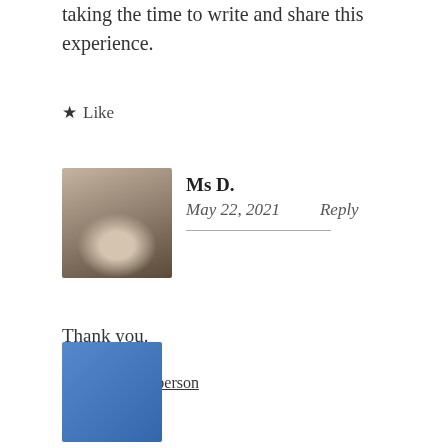taking the time to write and share this experience.
★ Like
Ms D.
May 22, 2021    Reply
Thank you.
★ Liked by 1 person